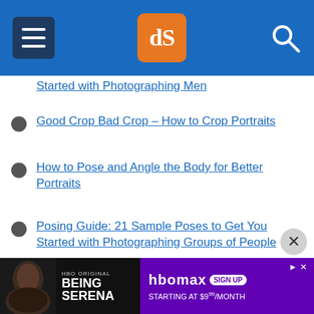[Figure (screenshot): Website header bar for dPS (Digital Photography School) with hamburger menu icon on left, orange dPS logo in center, and search icon on right, on blue background.]
Started with Photographing Men
Good Crop Bad Crop – How to Crop Portraits
How to Pose and Angle the Body for Better Portraits
Posing Guide: 21 Sample Poses to Get You Started with Photographing Groups of People
Posing Guide: 21 Sample Poses to Get You Started with Photographing Couples
Your Guide to the Best Poses for Engagement Photos
[Figure (screenshot): HBO Max advertisement banner at the bottom showing 'Being Serena' HBO Original with a woman's face on left side, and HBO Max Sign Up Starting at $9.99/month on purple background on right side.]